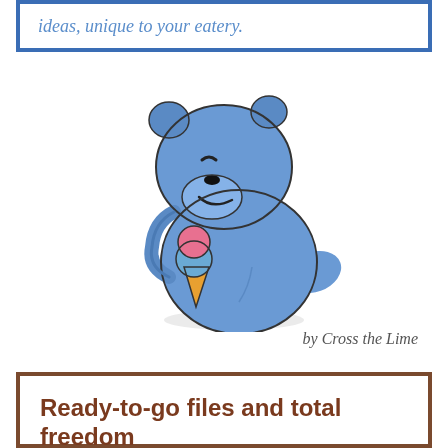ideas, unique to your eatery.
[Figure (illustration): Blue cartoon bear/animal mascot holding an ice cream cone with pink and blue scoops]
by Cross the Lime
Ready-to-go files and total freedom
Your new menu design comes with production-ready files